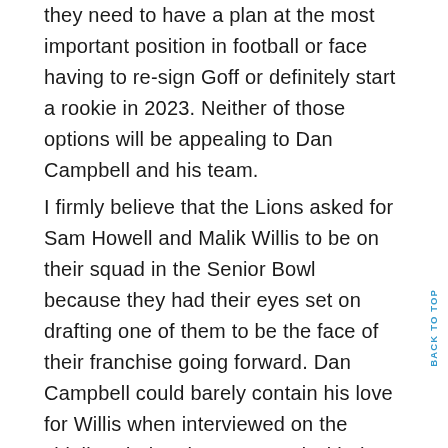they need to have a plan at the most important position in football or face having to re-sign Goff or definitely start a rookie in 2023. Neither of those options will be appealing to Dan Campbell and his team.
I firmly believe that the Lions asked for Sam Howell and Malik Willis to be on their squad in the Senior Bowl because they had their eyes set on drafting one of them to be the face of their franchise going forward. Dan Campbell could barely contain his love for Willis when interviewed on the sideline during the game and with the amount of arm talent, mobility and desire he has, I think Detroit fans will quickly grow to love him.